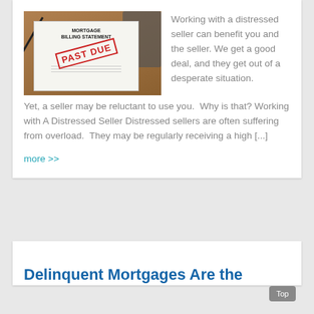[Figure (photo): Mortgage billing statement document with PAST DUE red stamp, on a wooden desk with a calculator in the background.]
Working with a distressed seller can benefit you and the seller. We get a good deal, and they get out of a desperate situation.  Yet, a seller may be reluctant to use you.  Why is that? Working with A Distressed Seller Distressed sellers are often suffering from overload.  They may be regularly receiving a high [...]
more >>
Delinquent Mortgages Are the